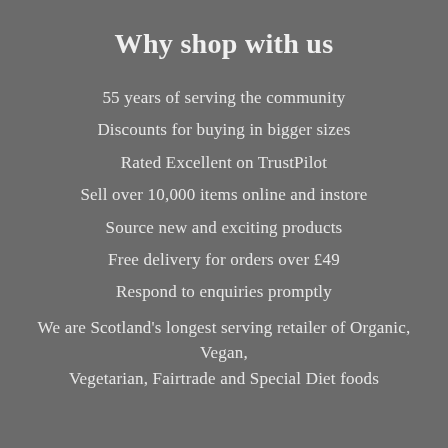Why shop with us
55 years of serving the community
Discounts for buying in bigger sizes
Rated Excellent on TrustPilot
Sell over 10,000 items online and instore
Source new and exciting products
Free delivery for orders over £49
Respond to enquiries promptly
We are Scotland's longest serving retailer of Organic, Vegan, Vegetarian, Fairtrade and Special Diet foods